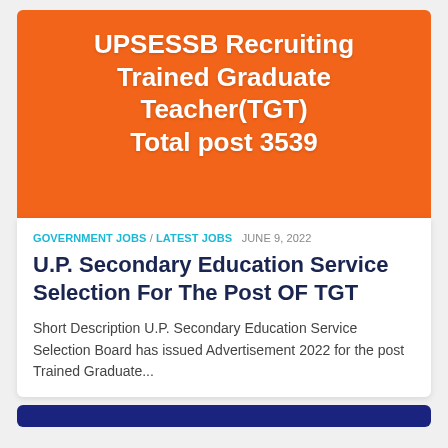[Figure (infographic): Orange banner image with white bold text: UPSESSB Recruiting Trained Graduate Teacher(TGT) Total post 3539]
GOVERNMENT JOBS / LATEST JOBS  JUNE 9, 2022
U.P. Secondary Education Service Selection For The Post OF TGT
Short Description U.P. Secondary Education Service Selection Board has issued Advertisement 2022 for the post Trained Graduate...